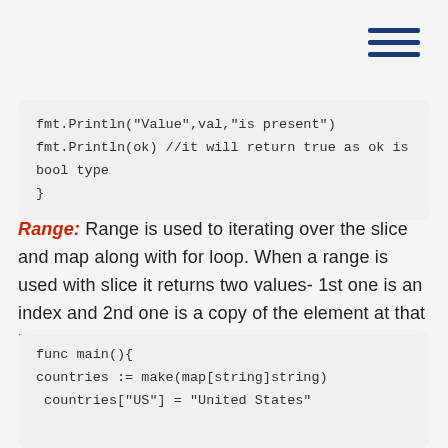[Figure (other): Hamburger menu icon with three horizontal blue lines in top-right corner]
fmt.Println("Value",val,"is present")
fmt.Println(ok) //it will return true as ok is bool type
}
Range: Range is used to iterating over the slice and map along with for loop. When a range is used with slice it returns two values- 1st one is an index and 2nd one is a copy of the element at that index.
func main(){
countries := make(map[string]string)
 countries["US"] = "United States"